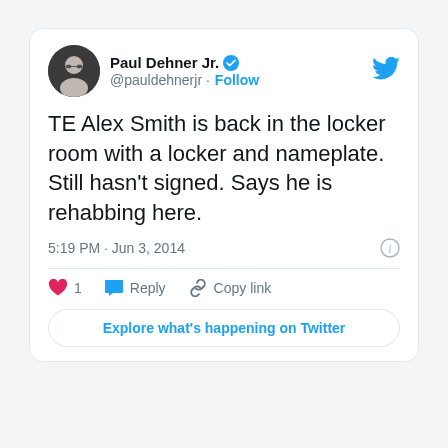[Figure (screenshot): Twitter/X profile tweet card showing Paul Dehner Jr. (@pauldehnerjr) verified account with a tweet about TE Alex Smith]
Paul Dehner Jr. @pauldehnerjr · Follow
TE Alex Smith is back in the locker room with a locker and nameplate. Still hasn't signed. Says he is rehabbing here.
5:19 PM · Jun 3, 2014
1  Reply  Copy link
Explore what's happening on Twitter